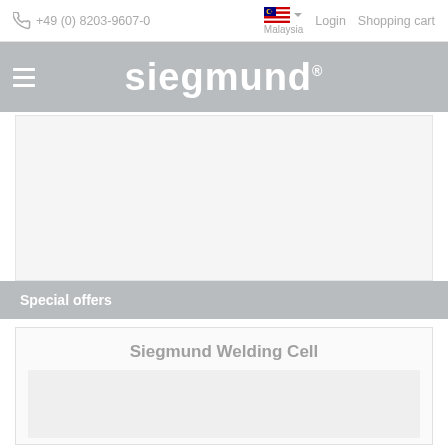+49 (0) 8203-9607-0   Malaysia   Login   Shopping cart
siegmund®
[Figure (other): Large product image area (placeholder/blank)]
Special offers
Siegmund Welding Cell
[Figure (other): Product image area for Siegmund Welding Cell (placeholder/blank)]